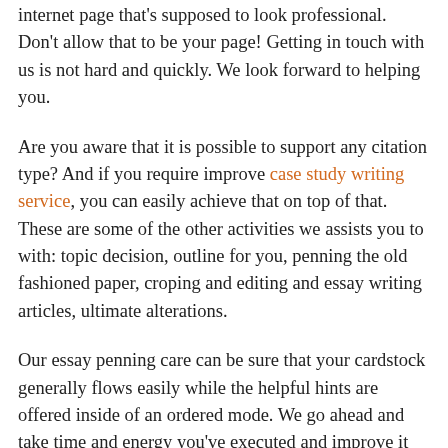internet page that's supposed to look professional. Don't allow that to be your page! Getting in touch with us is not hard and quickly. We look forward to helping you.
Are you aware that it is possible to support any citation type? And if you require improve case study writing service, you can easily achieve that on top of that. These are some of the other activities we assists you to with: topic decision, outline for you, penning the old fashioned paper, croping and editing and essay writing articles, ultimate alterations.
Our essay penning care can be sure that your cardstock generally flows easily while the helpful hints are offered inside of an ordered mode. We go ahead and take time and energy you've executed and improve it up for you personally so the final product is a specific thing you are pleased with. You can be portion of the determination-to make operation all on the way. We